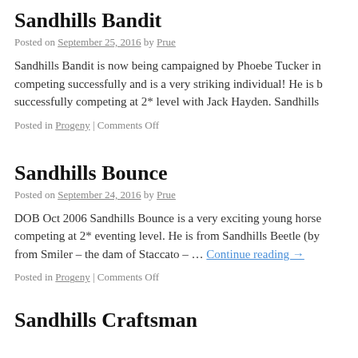Sandhills Bandit
Posted on September 25, 2016 by Prue
Sandhills Bandit is now being campaigned by Phoebe Tucker in competing successfully and is a very striking individual! He is b successfully competing at 2* level with Jack Hayden. Sandhills
Posted in Progeny | Comments Off
Sandhills Bounce
Posted on September 24, 2016 by Prue
DOB Oct 2006 Sandhills Bounce is a very exciting young horse competing at 2* eventing level. He is from Sandhills Beetle (by from Smiler – the dam of Staccato – … Continue reading →
Posted in Progeny | Comments Off
Sandhills Craftsman